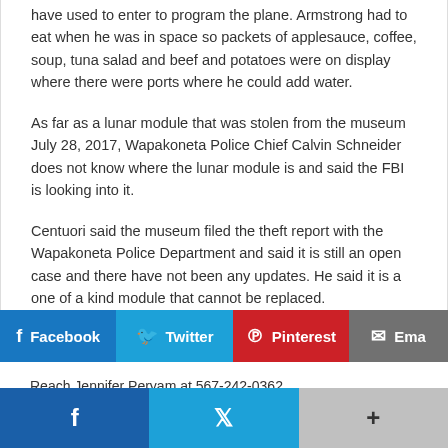have used to enter to program the plane. Armstrong had to eat when he was in space so packets of applesauce, coffee, soup, tuna salad and beef and potatoes were on display where there were ports where he could add water.
As far as a lunar module that was stolen from the museum July 28, 2017, Wapakoneta Police Chief Calvin Schneider does not know where the lunar module is and said the FBI is looking into it.
Centuori said the museum filed the theft report with the Wapakoneta Police Department and said it is still an open case and there have not been any updates. He said it is a one of a kind module that cannot be replaced.
Facebook | Twitter | Pinterest | Email
Reach Jennifer Peryam at 567-242-0362.